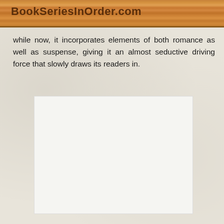BookSeriesInOrder.com
while now, it incorporates elements of both romance as well as suspense, giving it an almost seductive driving force that slowly draws its readers in.
[Figure (other): Advertisement placeholder box with three small dots centered near the bottom]